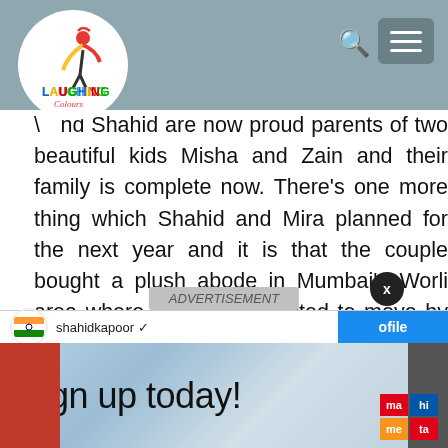Laughing Colours — website header with logo, search icon, and hamburger menu
...nd Shahid are now proud parents of two beautiful kids Misha and Zain and their family is complete now. There's one more thing which Shahid and Mira planned for the next year and it is that the couple bought a plush abode in Mumbai's Worli area where they are expected to move by next year. So, it seems the couple has already sorted out their plans for the next year and it is surely going to be a busy year for both of them.
ADVERTISEMENT
[Figure (screenshot): Advertisement overlay showing 'Sign up today!' with Mahindra logo, over an Instagram embed showing a user profile with Indian flag icon and a blue 'ofile' (profile) button.]